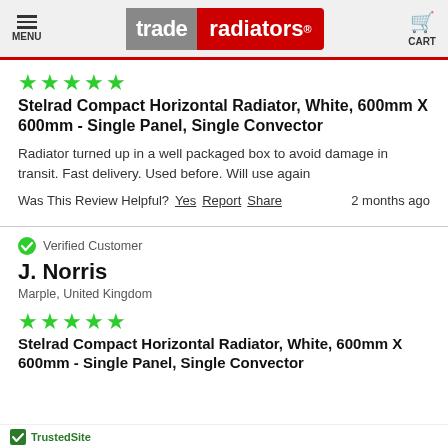MENU | trade radiators | CART
[Figure (other): 5 green stars rating]
Stelrad Compact Horizontal Radiator, White, 600mm X 600mm - Single Panel, Single Convector
Radiator turned up in a well packaged box to avoid damage in transit. Fast delivery. Used before. Will use again
Was This Review Helpful?  Yes  Report  Share   2 months ago
Verified Customer
J. Norris
Marple, United Kingdom
[Figure (other): 5 green stars rating]
Stelrad Compact Horizontal Radiator, White, 600mm X 600mm - Single Panel, Single Convector